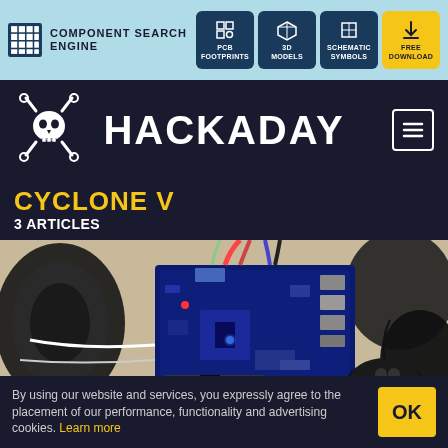COMPONENT SEARCH ENGINE — PCB FOOTPRINTS, 3D MODELS, SCHEMATIC SYMBOLS, FREE DOWNLOAD
HACKADAY
CYCLONE V
3 ARTICLES
[Figure (photo): Photo of a Cyclone V FPGA development board surrounded by headphones, speaker, and mouse on a desk, with multiple cables connected]
By using our website and services, you expressly agree to the placement of our performance, functionality and advertising cookies. Learn more